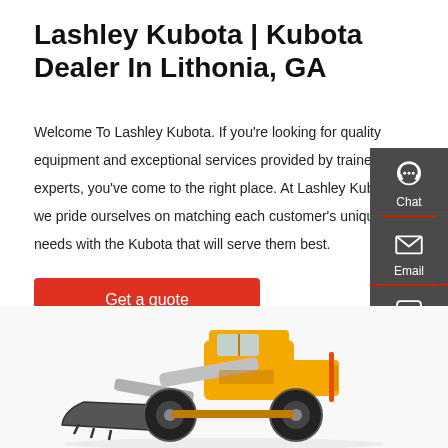Lashley Kubota | Kubota Dealer In Lithonia, GA
Welcome To Lashley Kubota. If you're looking for quality equipment and exceptional services provided by trained experts, you've come to the right place. At Lashley Kubota, we pride ourselves on matching each customer's unique needs with the Kubota that will serve them best.
Get a quote
[Figure (illustration): Side panel with Chat, Email, and Contact icons on dark grey background]
[Figure (photo): Yellow Kubota wheel loader / front-end loader construction equipment on white background]